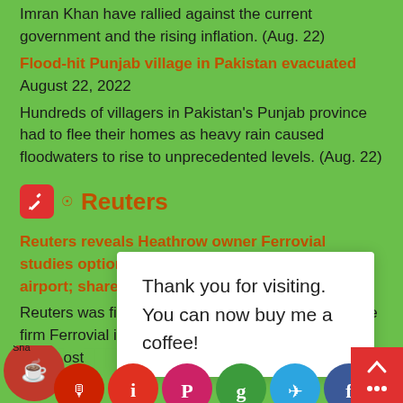Imran Khan have rallied against the current government and the rising inflation. (Aug. 22)
Flood-hit Punjab village in Pakistan evacuated August 22, 2022
Hundreds of villagers in Pakistan's Punjab province had to flee their homes as heavy rain caused floodwaters to rise to unprecedented levels. (Aug. 22)
[Figure (logo): Reuters logo with RSS icon and pencil/edit icon on red rounded square background]
Reuters reveals Heathrow owner Ferrovial studies options for stake in Britain's biggest airport; shares rise August 9, 2022
Reuters was first to report that Spanish infrastructure firm Ferrovial is looking at options regarding London's Heathrow airport; shares rise
Thank you for visiting. You can now buy me a coffee!